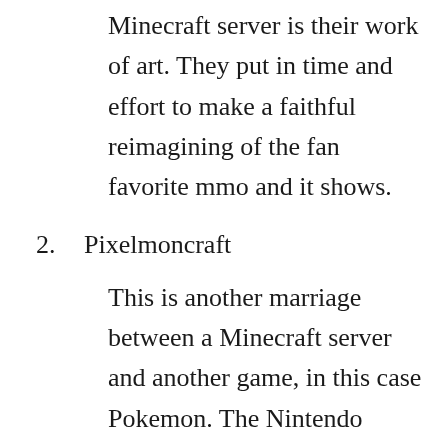Minecraft server is their work of art. They put in time and effort to make a faithful reimagining of the fan favorite mmo and it shows.
2. Pixelmoncraft
This is another marriage between a Minecraft server and another game, in this case Pokemon. The Nintendo games are obviously famous throughout the world and Minecraft seems like a perfect game to bring this fun game mode to. But the people in charge at Pixelmoncraft took it